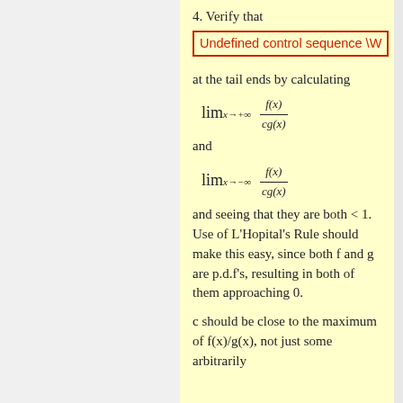4. Verify that
Undefined control sequence \W
at the tail ends by calculating
and
and seeing that they are both < 1. Use of L'Hopital's Rule should make this easy, since both f and g are p.d.f's, resulting in both of them approaching 0.
c should be close to the maximum of f(x)/g(x), not just some arbitrarily